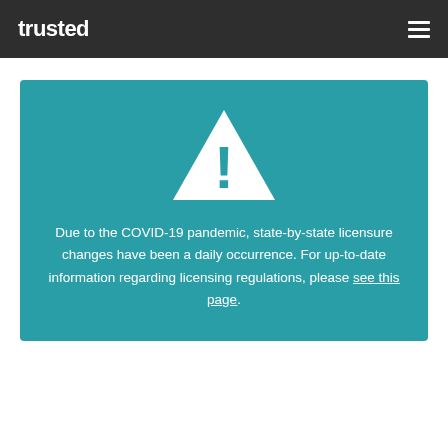trusted
[Figure (illustration): Warning triangle icon with exclamation mark, white on teal background]
Due to the COVID-19 pandemic, state-by-state licensure changes have been a daily occurrence. For up-to-date information regarding licensing regulations, please see this page.